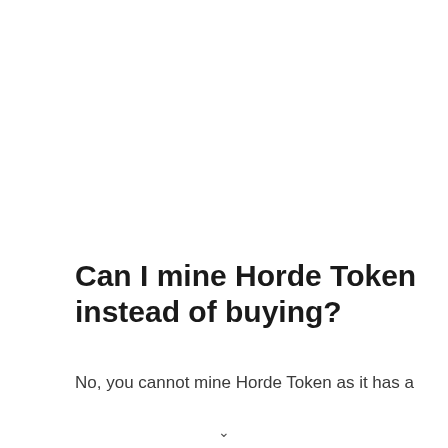Can I mine Horde Token instead of buying?
No, you cannot mine Horde Token as it has a